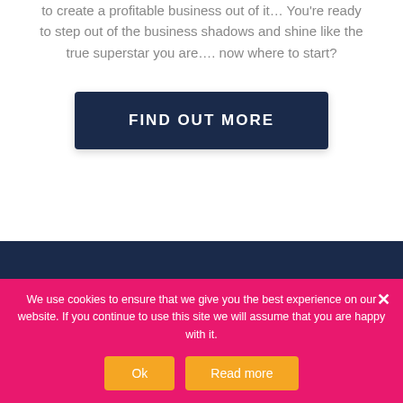to create a profitable business out of it…  You're ready to step out of the business shadows and shine like the true superstar you are…. now where to start?
FIND OUT MORE
We use cookies to ensure that we give you the best experience on our website. If you continue to use this site we will assume that you are happy with it.
Ok
Read more